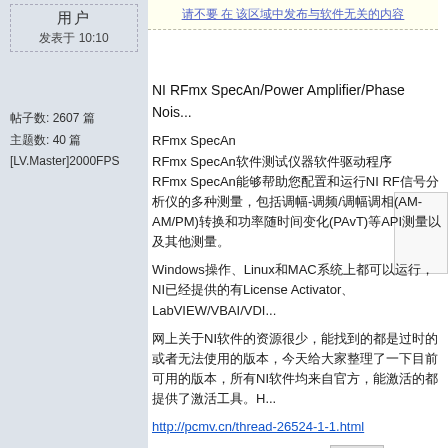用户名 发表于 10:10
帖子数: 2607 篇
主题数: 40 篇
[LV.Master]2000FPS
请不要 在 该区域中发布与软件无关的内容
NI RFmx SpecAn/Power Amplifier/Phase Nois...
RFmx SpecAn
RFmx SpecAn软件测试仪器软件驱动程序
RFmx SpecAn能够帮助您配置和运行NI RF信号分析仪的多种测量，包括调幅-调频/调幅调相(AM-AM/PM)转换和功率随时间变化(PAvT)等API测量以及其他测量。
Windows操作、Linux和MAC系统上都可以运行，NI已经提供的有License Activator、LabVIEW/VBAI/VDI...
网上关于NI软件的资源很少，能找到的都是过时的或者无法使用的版本，今天给大家整理了一下目前可用的版本，所有NI软件均来自官方，能激活的都提供了激活工具。H...
http://pcmv.cn/thread-26524-1-1.html
LabVIEW软件下载
NI RFmx SpecAn 1.0 Full Win32/64ENG RFm...
http://pcmv.cn/thread-28368-1-1.html?fromuid=...